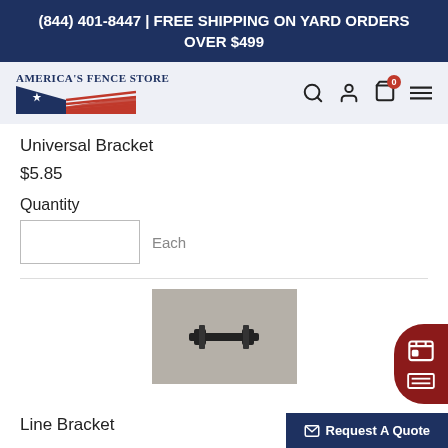(844) 401-8447 | FREE SHIPPING ON YARD ORDERS OVER $499
[Figure (logo): America's Fence Store logo with patriotic flag design in red, white, and blue]
Universal Bracket
$5.85
Quantity
Each
[Figure (photo): Product photo of a black universal bracket on a gray background]
Line Bracket
Request A Quote